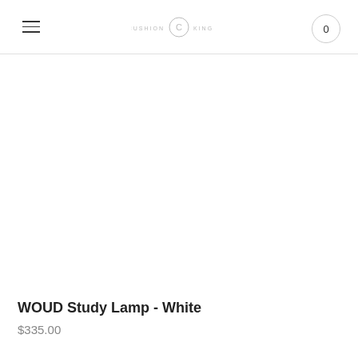CUSHION & KING — hamburger menu, logo, cart (0)
[Figure (photo): Product image area for WOUD Study Lamp - White, large white/blank product photo]
WOUD Study Lamp - White
$335.00